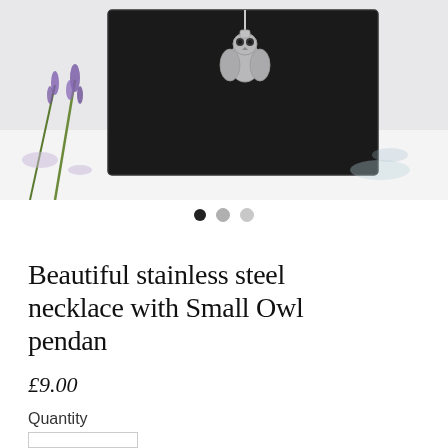[Figure (photo): Product photo of a stainless steel necklace with a small owl pendant displayed on a black jewelry box, with purple lavender flowers in the background on a white surface.]
Beautiful stainless steel necklace with Small Owl pendan
£9.00
Quantity